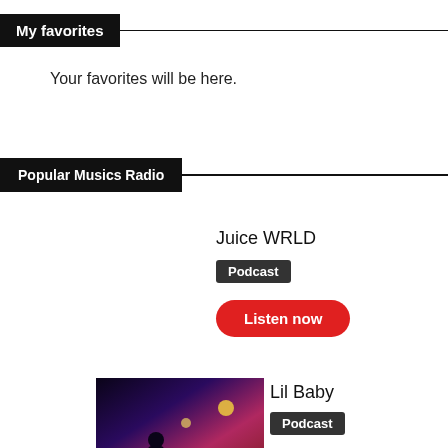My favorites
Your favorites will be here.
Popular Musics Radio
Juice WRLD
Podcast
Listen now
[Figure (illustration): Album art thumbnail for Lil Baby showing a nighttime scene with purple/pink gradient sky and a figure, with text at bottom]
Lil Baby
Podcast